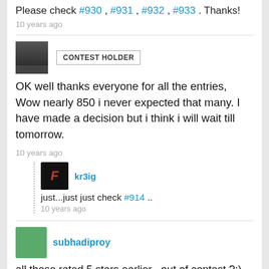Please check #930 , #931 , #932 , #933 . Thanks!
10 years ago
CONTEST HOLDER
OK well thanks everyone for all the entries, Wow nearly 850 i never expected that many. I have made a decision but i think i will wait till tomorrow.
10 years ago
kr3ig
just...just just check #914 ..
10 years ago
subhadiproy
all those rated 5 stars earlier , out of contest ?:) and